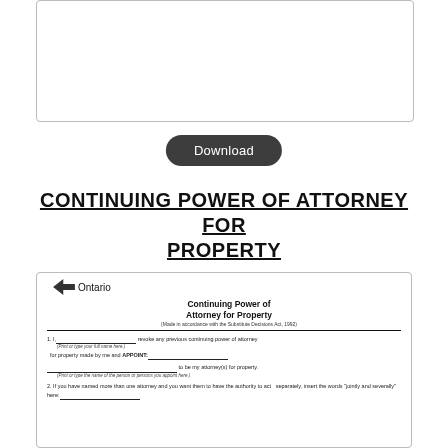[Figure (other): White rectangular preview box with border at top of page]
Download
CONTINUING POWER OF ATTORNEY FOR PROPERTY
[Figure (other): Preview of Ontario government Continuing Power of Attorney for Property form showing Ontario logo, form title, and first two clauses about appointing attorney and authority to act jointly and severally]